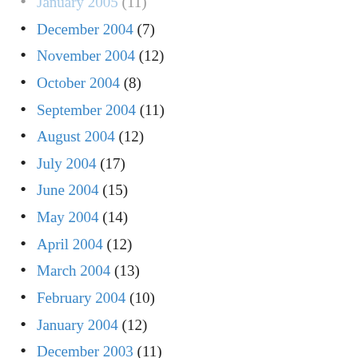January 2005 (11)
December 2004 (7)
November 2004 (12)
October 2004 (8)
September 2004 (11)
August 2004 (12)
July 2004 (17)
June 2004 (15)
May 2004 (14)
April 2004 (12)
March 2004 (13)
February 2004 (10)
January 2004 (12)
December 2003 (11)
November 2003 (12)
October 2003 (11)
September 2003 (11)